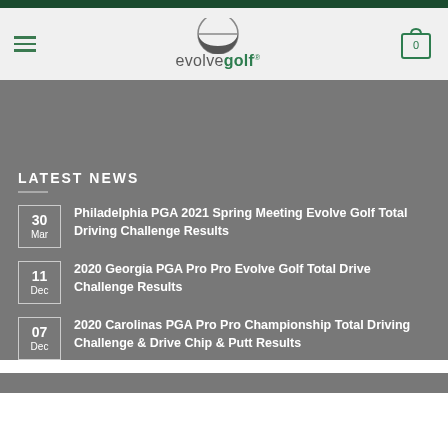evolvegolf
LATEST NEWS
30 Mar — Philadelphia PGA 2021 Spring Meeting Evolve Golf Total Driving Challenge Results
11 Dec — 2020 Georgia PGA Pro Pro Evolve Golf Total Drive Challenge Results
07 Dec — 2020 Carolinas PGA Pro Pro Championship Total Driving Challenge & Drive Chip & Putt Results